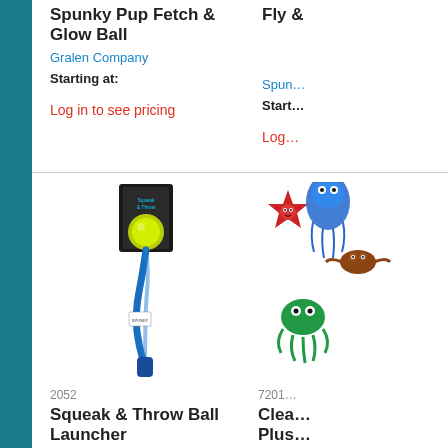Spunky Pup Fetch & Glow Ball
Gralen Company
Starting at:
Log in to see pricing
Fly &…
Spun…
Start…
Log…
[Figure (photo): Squeak & Throw Ball Launcher product photo — blue rope launcher with yellow-green glowing ball and black cardboard header]
2052
Squeak & Throw Ball Launcher
Spunky Pup
Log in to see pricing
[Figure (photo): Clearance Plush ocean creatures toys product — starfish, jellyfish, seahorse characters in red, blue and green]
7201…
Clea… Plus…
Spun…
Start…
Log…